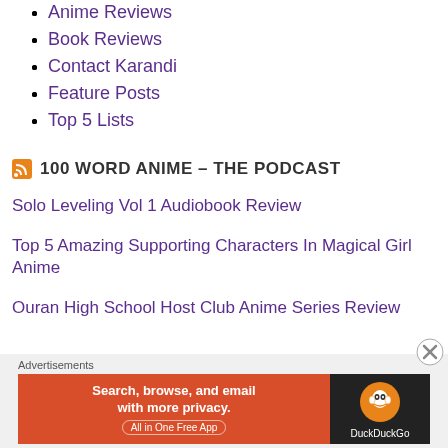Anime Reviews
Book Reviews
Contact Karandi
Feature Posts
Top 5 Lists
100 WORD ANIME – THE PODCAST
Solo Leveling Vol 1 Audiobook Review
Top 5 Amazing Supporting Characters In Magical Girl Anime
Ouran High School Host Club Anime Series Review
Advertisements
[Figure (screenshot): DuckDuckGo advertisement banner: Search, browse, and email with more privacy. All in One Free App]